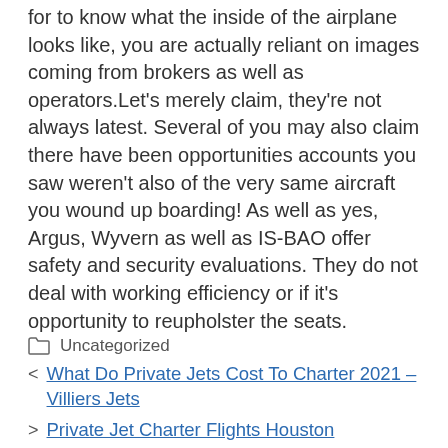for to know what the inside of the airplane looks like, you are actually reliant on images coming from brokers as well as operators.Let's merely claim, they're not always latest. Several of you may also claim there have been opportunities accounts you saw weren't also of the very same aircraft you wound up boarding! As well as yes, Argus, Wyvern as well as IS-BAO offer safety and security evaluations. They do not deal with working efficiency or if it's opportunity to reupholster the seats.
Uncategorized
What Do Private Jets Cost To Charter 2021 – Villiers Jets
Private Jet Charter Flights Houston